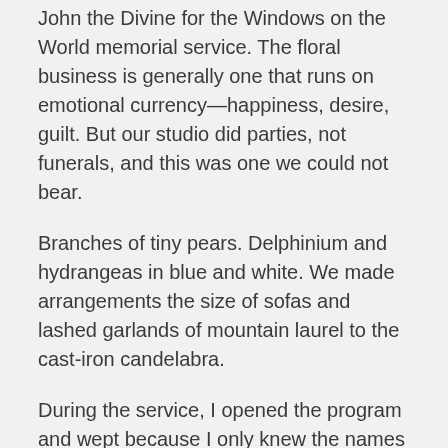John the Divine for the Windows on the World memorial service. The floral business is generally one that runs on emotional currency—happiness, desire, guilt. But our studio did parties, not funerals, and this was one we could not bear.
Branches of tiny pears. Delphinium and hydrangeas in blue and white. We made arrangements the size of sofas and lashed garlands of mountain laurel to the cast-iron candelabra.
During the service, I opened the program and wept because I only knew the names of three people. Afterwards the service a manager came over and crushed me in her arms. Inexplicably, former New York City Mayor Rudy Giuliani shook my hand.
I swallowed every report compulsively, as though I could devour my grief